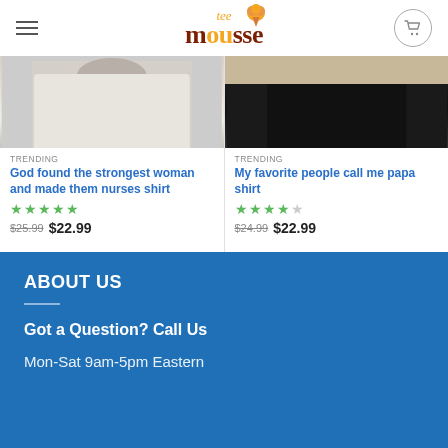tee mousse
[Figure (photo): Left product: person wearing white t-shirt]
TRENDING
God found the strongest woman and made them nurses shirt
★★★★★ $25.99 $22.99
[Figure (photo): Right product: person wearing black top]
TRENDING
My favorite people call me papa shirt
★★★★☆ $24.99 $22.99
ABOUT US
Got a Question? Call Us
Mon-Sat 9am-5pm Eastern